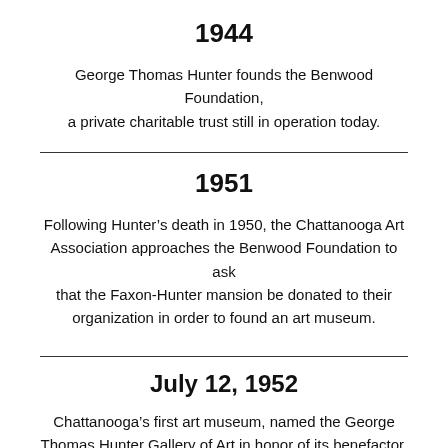1944
George Thomas Hunter founds the Benwood Foundation, a private charitable trust still in operation today.
1951
Following Hunter’s death in 1950, the Chattanooga Art Association approaches the Benwood Foundation to ask that the Faxon-Hunter mansion be donated to their organization in order to found an art museum.
July 12, 1952
Chattanooga’s first art museum, named the George Thomas Hunter Gallery of Art in honor of its benefactor,